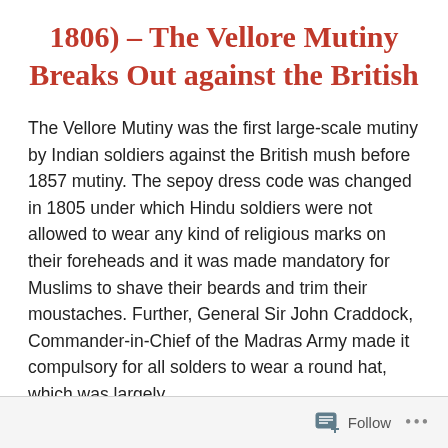1806) – The Vellore Mutiny Breaks Out against the British
The Vellore Mutiny was the first large-scale mutiny by Indian soldiers against the British mush before 1857 mutiny. The sepoy dress code was changed in 1805 under which Hindu soldiers were not allowed to wear any kind of religious marks on their foreheads and it was made mandatory for Muslims to shave their beards and trim their moustaches. Further, General Sir John Craddock, Commander-in-Chief of the Madras Army made it compulsory for all solders to wear a round hat, which was largely
Follow ...